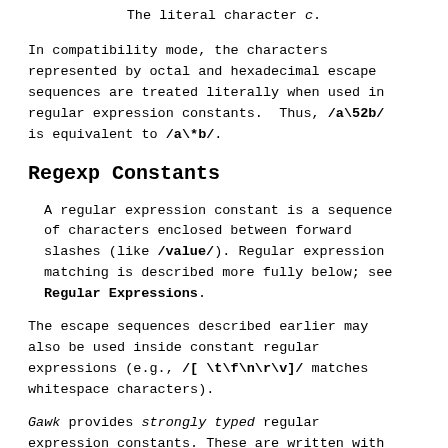The literal character c.
In compatibility mode, the characters represented by octal and hexadecimal escape sequences are treated literally when used in regular expression constants. Thus, /a\52b/ is equivalent to /a\*b/.
Regexp Constants
A regular expression constant is a sequence of characters enclosed between forward slashes (like /value/). Regular expression matching is described more fully below; see Regular Expressions.
The escape sequences described earlier may also be used inside constant regular expressions (e.g., /[ \t\f\n\r\v]/ matches whitespace characters).
Gawk provides strongly typed regular expression constants. These are written with